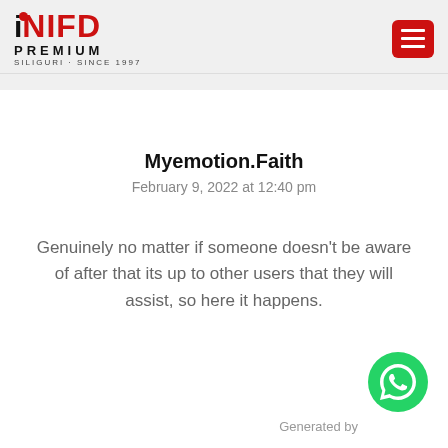[Figure (logo): INIFD Premium Siliguri Since 1997 logo with red dot over the i and red NIFD text]
[Figure (other): Red hamburger menu button in top right corner]
Myemotion.Faith
February 9, 2022 at 12:40 pm
Genuinely no matter if someone doesn’t be aware of after that its up to other users that they will assist, so here it happens.
Generated by